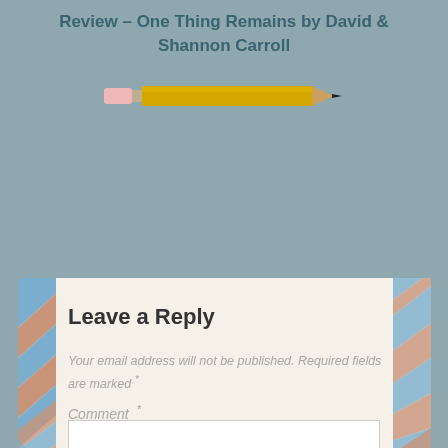Review – One Thing Remains by David & Shannon Carroll
[Figure (illustration): A yellow pencil with pink eraser on the left end and dark tip on the right, oriented horizontally]
Leave a Reply
Your email address will not be published. Required fields are marked *
Comment *